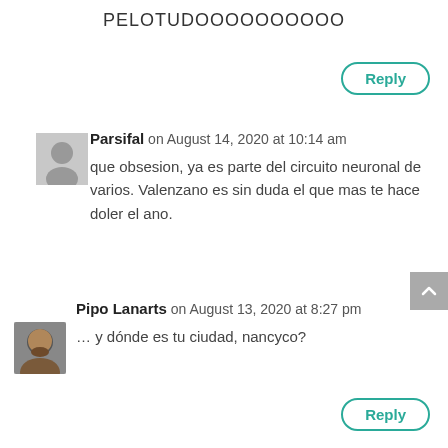PELOTUDOOOOOOOOOO
Reply
Parsifal on August 14, 2020 at 10:14 am
que obsesion, ya es parte del circuito neuronal de varios. Valenzano es sin duda el que mas te hace doler el ano.
Pipo Lanarts on August 13, 2020 at 8:27 pm
… y dónde es tu ciudad, nancyco?
Reply